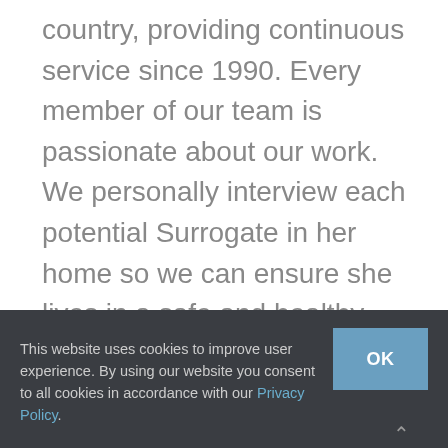country, providing continuous service since 1990. Every member of our team is passionate about our work. We personally interview each potential Surrogate in her home so we can ensure she lives in a safe and healthy environment. All our Surrogates are interviewed by a licensed psychologist and attend monthly support group meetings led by a licensed mental health professional.
This website uses cookies to improve user experience. By using our website you consent to all cookies in accordance with our Privacy Policy.